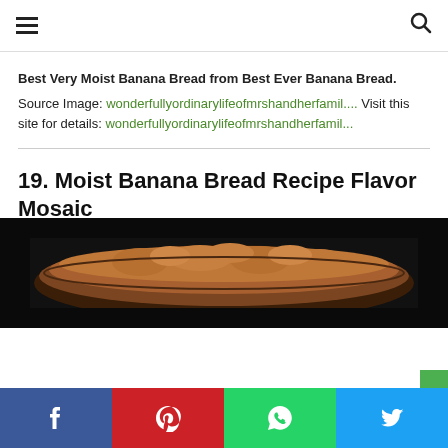Navigation header with hamburger menu and search icon
Best Very Moist Banana Bread from Best Ever Banana Bread.
Source Image: wonderfullyordinarylifeofmrshandherfamil.... Visit this site for details: wonderfullyordinarylifeofmrshandherfamil...
19. Moist Banana Bread Recipe Flavor Mosaic
[Figure (photo): Close-up photo of moist banana bread with nuts on top, dark background]
Social share buttons: Facebook, Pinterest, WhatsApp, Twitter